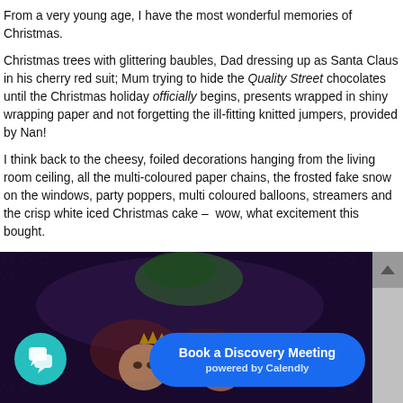From a very young age, I have the most wonderful memories of Christmas.
Christmas trees with glittering baubles, Dad dressing up as Santa Claus in his cherry red suit; Mum trying to hide the Quality Street chocolates until the Christmas holiday officially begins, presents wrapped in shiny wrapping paper and not forgetting the ill-fitting knitted jumpers, provided by Nan!
I think back to the cheesy, foiled decorations hanging from the living room ceiling, all the multi-coloured paper chains, the frosted fake snow on the windows, party poppers, multi coloured balloons, streamers and the crisp white iced Christmas cake – wow, what excitement this bought.
[Figure (photo): An old photograph showing children in a dark setting, possibly a Christmas or party scene with dark background and festive elements.]